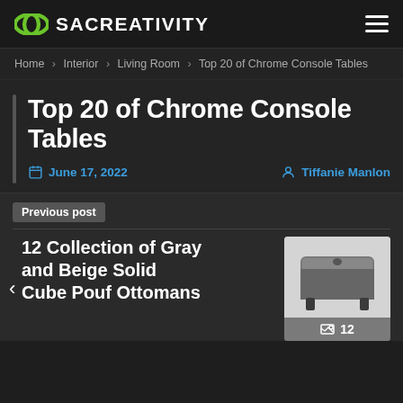SACREATIVITY
Home › Interior › Living Room › Top 20 of Chrome Console Tables
Top 20 of Chrome Console Tables
June 17, 2022  Tiffanie Manlon
Previous post
12 Collection of Gray and Beige Solid Cube Pouf Ottomans
[Figure (photo): Gray cube pouf ottoman with tufted top and dark wooden legs]
12